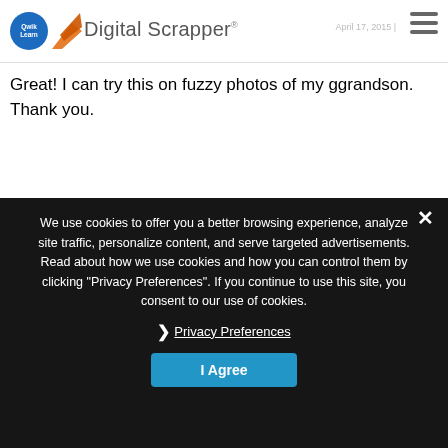Digital Scrapper · April 17, 2015
Great! I can try this on fuzzy photos of my ggrandson. Thank you.
We use cookies to offer you a better browsing experience, analyze site traffic, personalize content, and serve targeted advertisements. Read about how we use cookies and how you can control them by clicking "Privacy Preferences". If you continue to use this site, you consent to our use of cookies.
❯ Privacy Preferences
I Agree